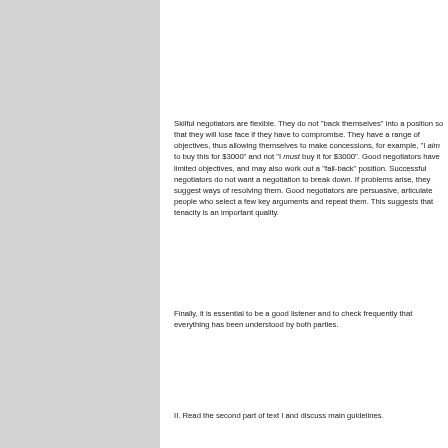Skilful negotiators are flexible. They do not "back themselves" into a position so that they will lose face if they have to compromise. They have a range of objectives, thus allowing themselves to make concessions, for example, "I aim to buy this for $3000" and not "I must buy it for $3000". Good negotiators have limited objectives, and may also work out a "fall-back" position. Successful negotiators do not want a negotiation to break down. If problems arise, they suggest ways of resolving them. Good negotiators are persuasive, articulate people who select a few key arguments and repeat them. This suggests that tenacity is an important quality.
Finally, it is essential to be a good listener and to check frequently that everything has been understood by both parties.
II. Read the second part of text I and discuss main guidelines.